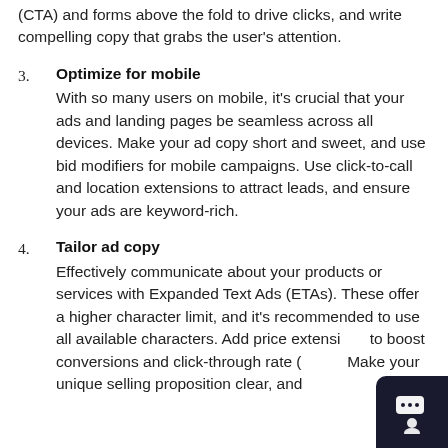(CTA) and forms above the fold to drive clicks, and write compelling copy that grabs the user's attention.
3. Optimize for mobile
With so many users on mobile, it's crucial that your ads and landing pages be seamless across all devices. Make your ad copy short and sweet, and use bid modifiers for mobile campaigns. Use click-to-call and location extensions to attract leads, and ensure your ads are keyword-rich.
4. Tailor ad copy
Effectively communicate about your products or services with Expanded Text Ads (ETAs). These offer a higher character limit, and it's recommended to use all available characters. Add price extensions to boost conversions and click-through rate (CTR). Make your unique selling proposition clear, and